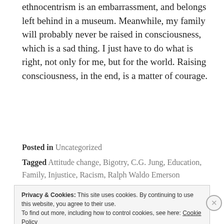presupposes the white mindset of the liberal. And ethnocentrism is an embarrassment, and belongs left behind in a museum. Meanwhile, my family will probably never be raised in consciousness, which is a sad thing. I just have to do what is right, not only for me, but for the world. Raising consciousness, in the end, is a matter of courage.
Posted in Uncategorized
Tagged Attitude change, Bigotry, C.G. Jung, Education, Family, Injustice, Racism, Ralph Waldo Emerson
Privacy & Cookies: This site uses cookies. By continuing to use this website, you agree to their use. To find out more, including how to control cookies, see here: Cookie Policy
Close and accept